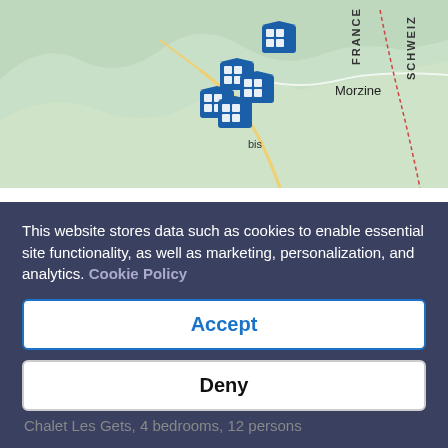[Figure (map): Topographic map showing Morzine area in the French Alps near the France/Schweiz border, with building/property icons clustered around Morzine and Avoriaz 1800 marker in the top right.]
View map
Browse Select Les Gets Chalets
See all available properties in Les Gets
[Figure (photo): Property listing card image placeholder: Chalet Les Gets, 4 bedrooms, 12 persons with a heart/favorite icon]
This website stores data such as cookies to enable essential site functionality, as well as marketing, personalization, and analytics. Cookie Policy
Accept
Deny
Chalet Les Gets, 4 bedrooms, 12 persons